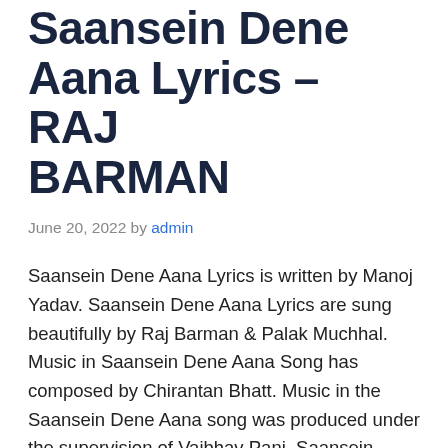Saansein Dene Aana Lyrics – RAJ BARMAN
June 20, 2022 by admin
Saansein Dene Aana Lyrics is written by Manoj Yadav. Saansein Dene Aana Lyrics are sung beautifully by Raj Barman & Palak Muchhal. Music in Saansein Dene Aana Song has composed by Chirantan Bhatt. Music in the Saansein Dene Aana song was produced under the supervision of Vaibhav Pani. Saansein Dene Aana Song featuring Aditya Roy & Sanjana S.. Saansein Dene Aana Song Mix and Mastered by Vinod Verma. The song is from the upcoming Bollywood movie One The Battle Within and the...